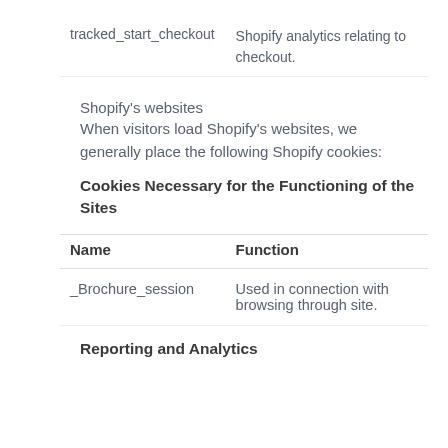| Name | Function |
| --- | --- |
| tracked_start_checkout | Shopify analytics relating to checkout. |
Shopify’s websites
When visitors load Shopify’s websites, we generally place the following Shopify cookies:
Cookies Necessary for the Functioning of the Sites
| Name | Function |
| --- | --- |
| _Brochure_session | Used in connection with browsing through site. |
Reporting and Analytics